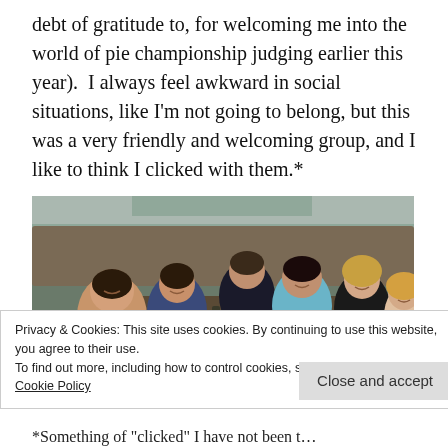debt of gratitude to, for welcoming me into the world of pie championship judging earlier this year).  I always feel awkward in social situations, like I'm not going to belong, but this was a very friendly and welcoming group, and I like to think I clicked with them.*
[Figure (photo): Group of people sitting around a restaurant table, smiling at camera, with food and drinks on the table.]
Privacy & Cookies: This site uses cookies. By continuing to use this website, you agree to their use.
To find out more, including how to control cookies, see here:
Cookie Policy
*Something of "clicked" I have not been t...